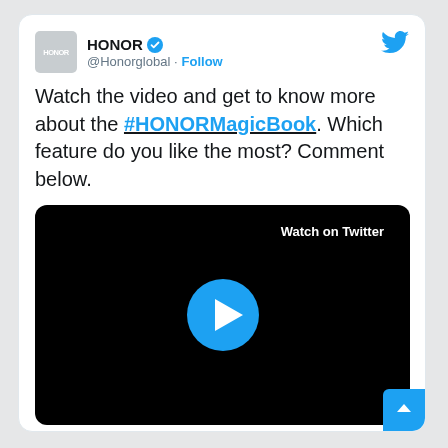[Figure (screenshot): Twitter/X post from HONOR (@Honorglobal) showing a tweet with text about #HONORMagicBook and an embedded video thumbnail with a play button and 'Watch on Twitter' label. Timestamp: 6:35 AM · Mar 23, 2020.]